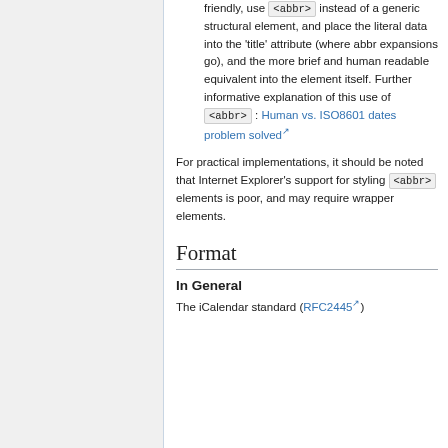friendly, use <abbr> instead of a generic structural element, and place the literal data into the 'title' attribute (where abbr expansions go), and the more brief and human readable equivalent into the element itself. Further informative explanation of this use of <abbr> : Human vs. ISO8601 dates problem solved
For practical implementations, it should be noted that Internet Explorer's support for styling <abbr> elements is poor, and may require wrapper elements.
Format
In General
The iCalendar standard (RFC2445)